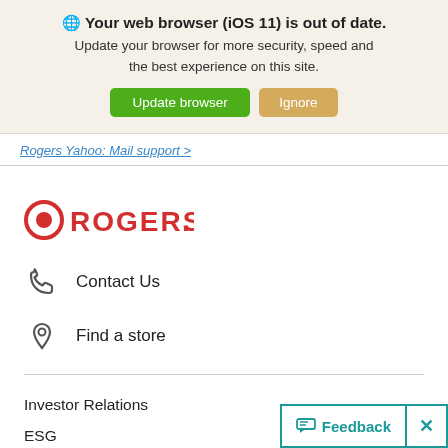Your web browser (iOS 11) is out of date. Update your browser for more security, speed and the best experience on this site.
Update browser | Ignore
Rogers Yahoo: Mail support >
[Figure (logo): Rogers logo with red circular icon and red ROGERS. text]
Contact Us
Find a store
Investor Relations
ESG
Feedback